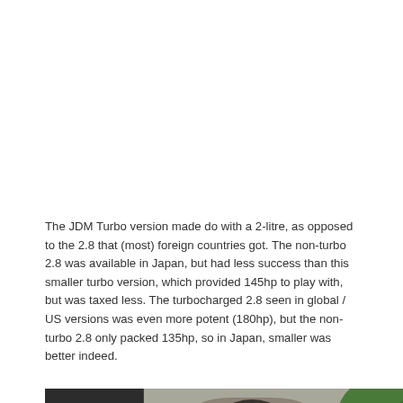The JDM Turbo version made do with a 2-litre, as opposed to the 2.8 that (most) foreign countries got. The non-turbo 2.8 was available in Japan, but had less success than this smaller turbo version, which provided 145hp to play with, but was taxed less. The turbocharged 2.8 seen in global / US versions was even more potent (180hp), but the non-turbo 2.8 only packed 135hp, so in Japan, smaller was better indeed.
[Figure (photo): Street-level photo showing a building with a stone brick arch entrance, green bushes/topiary, dark walls on the left, and what appears to be a white vehicle partially visible at the bottom. Japanese text visible in bottom-left area. An X close button visible in the lower-right corner of the upper section.]